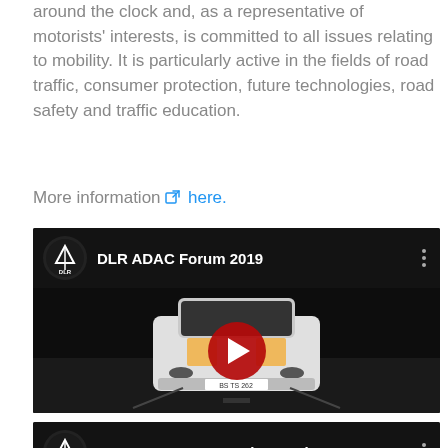around the clock and, as a representative of motorists' interests, is committed to all issues relating to mobility. It is particularly active in the fields of road traffic, consumer protection, future technologies, road safety and traffic education.
More information ↪ here.
[Figure (screenshot): YouTube-style video thumbnail for 'DLR ADAC Forum 2019' showing a white car driving at night on a dark road, with a red play button in the center. DLR logo in top-left corner.]
[Figure (screenshot): YouTube-style video thumbnail for 'TransAID Demonstration on the Tes...' showing beginning of a similar dark video. DLR logo in top-left corner.]